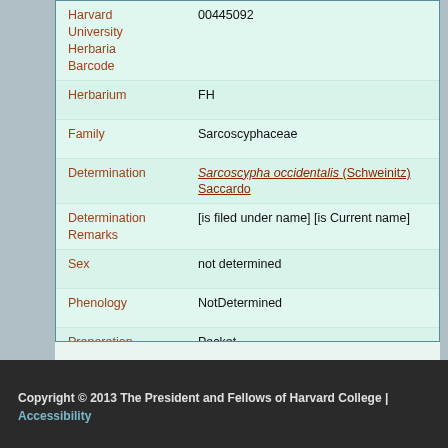| Field | Value |
| --- | --- |
| Harvard University Herbaria Barcode | 00445092 |
| Herbarium | FH |
| Family | Sarcoscyphaceae |
| Determination | Sarcoscypha occidentalis (Schweinitz) Saccardo |
| Determination Remarks | [is filed under name] [is Current name] |
| Sex | not determined |
| Phenology | NotDetermined |
| Preparation Type | Packet |
| Preparation Method | Dried |
Copyright © 2013 The President and Fellows of Harvard College | Accessibility